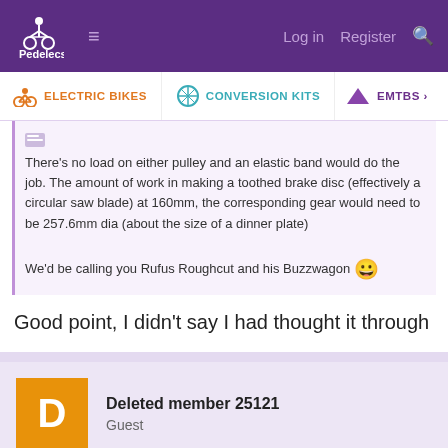Pedelecs — Log in  Register
ELECTRIC BIKES   CONVERSION KITS   EMTBS
There’s no load on either pulley and an elastic band would do the job. The amount of work in making a toothed brake disc (effectively a circular saw blade) at 160mm, the corresponding gear would need to be 257.6mm dia (about the size of a dinner plate)

We’d be calling you Rufus Roughcut and his Buzzwagon 😄
Good point, I didn’t say I had thought it through
Deleted member 25121
Guest
May 20, 2019